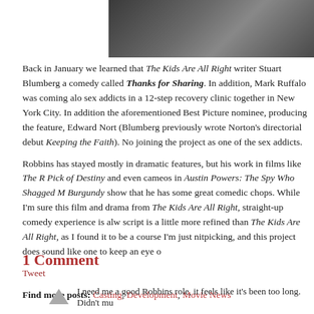[Figure (photo): Photo of a man in dark clothing against a dark background, looking to the side with hand near chin]
Back in January we learned that The Kids Are All Right writer Stuart Blumberg a comedy called Thanks for Sharing. In addition, Mark Ruffalo was coming alo sex addicts in a 12-step recovery clinic together in New York City. In addition the aforementioned Best Picture nominee, producing the feature, Edward Nort (Blumberg previously wrote Norton's directorial debut Keeping the Faith). No joining the project as one of the sex addicts.
Robbins has stayed mostly in dramatic features, but his work in films like The R Pick of Destiny and even cameos in Austin Powers: The Spy Who Shagged M Burgundy show that he has some great comedic chops. While I'm sure this film and drama from The Kids Are All Right, straight-up comedy experience is alw script is a little more refined than The Kids Are All Right, as I found it to be a course I'm just nitpicking, and this project does sound like one to keep an eye o
Tweet
Find more posts: Casting, Development, Movie News
1 Comment
I need me a good Robbins role, it feels like it's been too long. Didn't mu